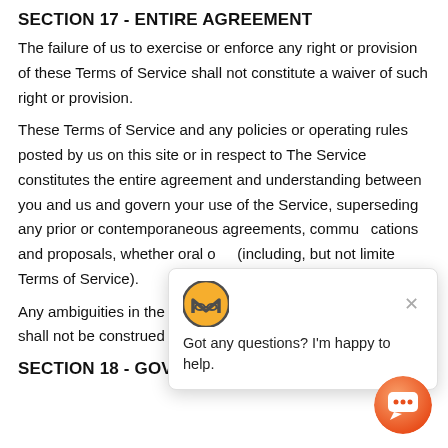SECTION 17 - ENTIRE AGREEMENT
The failure of us to exercise or enforce any right or provision of these Terms of Service shall not constitute a waiver of such right or provision.
These Terms of Service and any policies or operating rules posted by us on this site or in respect to The Service constitutes the entire agreement and understanding between you and us and govern your use of the Service, superseding any prior or contemporaneous agreements, communications and proposals, whether oral or (including, but not limited Terms of Service).
Any ambiguities in the interpretation of these Terms of Service shall not be construed against the drafting
SECTION 18 - GOVERNING LAW
[Figure (other): Chat widget popup with Monero logo icon and close button, showing message: Got any questions? I'm happy to help.]
[Figure (other): Orange circular chat button in bottom-right corner with speech bubble icon.]